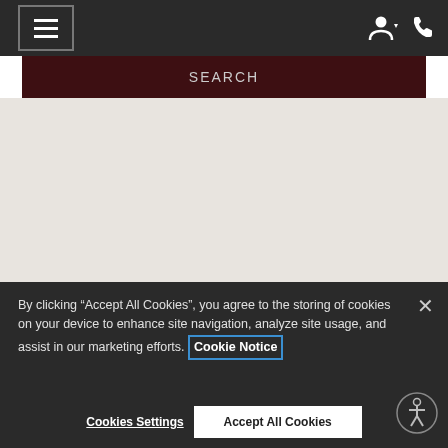[Figure (screenshot): Top navigation bar with hamburger menu button on left, person/account icon and phone icon on right, dark background]
SEARCH
[Figure (screenshot): Light gray/beige main content area, empty search results region]
By clicking “Accept All Cookies”, you agree to the storing of cookies on your device to enhance site navigation, analyze site usage, and assist in our marketing efforts. Cookie Notice
Cookies Settings
Accept All Cookies